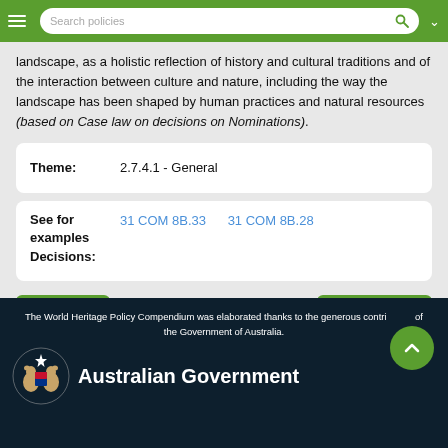Search policies
landscape, as a holistic reflection of history and cultural traditions and of the interaction between culture and nature, including the way the landscape has been shaped by human practices and natural resources (based on Case law on decisions on Nominations).
| Theme: | 2.7.4.1 - General |
| --- | --- |
| See for examples Decisions: | 31 COM 8B.33    31 COM 8B.28 |
| --- | --- |
Read    Download
The World Heritage Policy Compendium was elaborated thanks to the generous contribution of the Government of Australia.